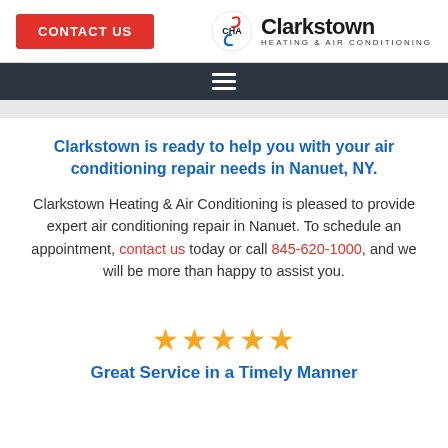[Figure (logo): Contact Us button and Clarkstown Heating & Air Conditioning logo in header]
[Figure (other): Dark navigation bar with hamburger menu icon]
Clarkstown is ready to help you with your air conditioning repair needs in Nanuet, NY.
Clarkstown Heating & Air Conditioning is pleased to provide expert air conditioning repair in Nanuet. To schedule an appointment, contact us today or call 845-620-1000, and we will be more than happy to assist you.
[Figure (other): Five gold star rating]
Great Service in a Timely Manner